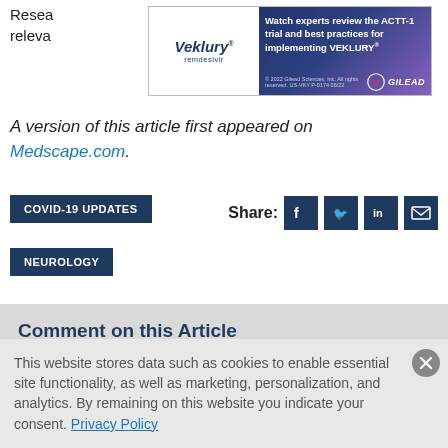Research...and no relevance...
[Figure (other): Veklury (remdesivir) advertisement banner by Gilead. Text: Watch experts review the ACTT-1 trial and best practices for implementing VEKLURY. © 2022 Gilead Sciences, Inc. All rights reserved. US-VKY P-0174 06/22]
A version of this article first appeared on Medscape.com.
COVID-19 UPDATES
NEUROLOGY
Share:
Comment on this Article
Your email address will not be published. Required fields are marked *
This website stores data such as cookies to enable essential site functionality, as well as marketing, personalization, and analytics. By remaining on this website you indicate your consent. Privacy Policy